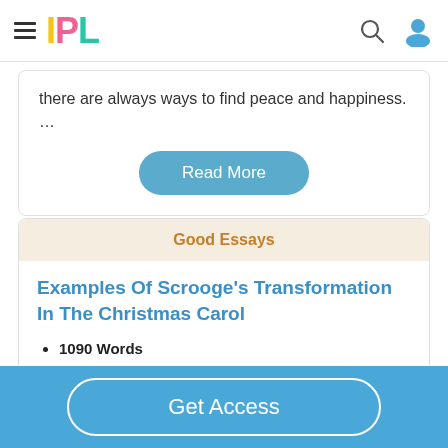IPL
there are always ways to find peace and happiness. …
Read More
Good Essays
Examples Of Scrooge's Transformation In The Christmas Carol
1090 Words
5 Pages
Get Access